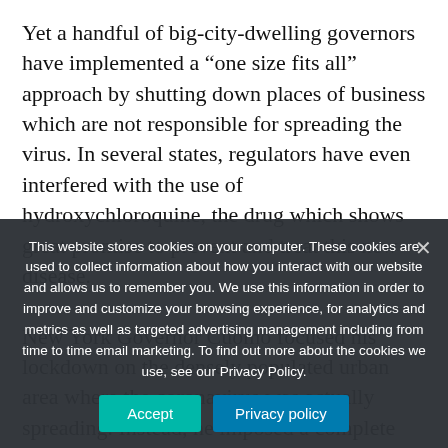Yet a handful of big-city-dwelling governors have implemented a “one size fits all” approach by shutting down places of business which are not responsible for spreading the virus. In several states, regulators have even interfered with the use of hydroxychloroquine, the drug which shows great promise to prevent and treat this new disease.
New York Governor Cuomo focused his lockdown on the densely populated urban area where the coronavirus was actually spreading. Instead, he imposed a complete shutdown on every municipality, township and county across the Empire State. In regions...
This website stores cookies on your computer. These cookies are used to collect information about how you interact with our website and allows us to remember you. We use this information in order to improve and customize your browsing experience, for analytics and metrics as well as targeted advertising management including from time to time email marketing. To find out more about the cookies we use, see our Privacy Policy.